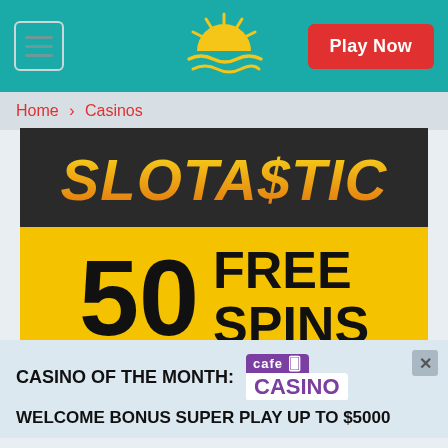[Figure (screenshot): Website header with teal background, hamburger menu icon, sun/casino logo in center, and red Play Now button on right]
Home > Casinos
[Figure (logo): Slotastic casino banner with dark background showing 'SLOTASTIC' in large orange-gold italic text, below which is a yellow banner reading '50 FREE SPINS' in bold black text]
CASINO OF THE MONTH:
[Figure (logo): Cafe Casino logo with purple branding]
WELCOME BONUS SUPER PLAY UP TO $5000